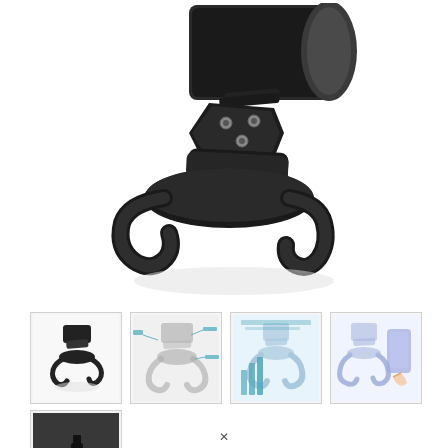[Figure (photo): Close-up product photo of a black metal car phone mount/holder with articulating arm and hook-style base, shown on white background]
[Figure (photo): Thumbnail 1: Small product photo of the black phone mount holder on white background]
[Figure (photo): Thumbnail 2: Diagram/illustration of the phone mount with labeled parts in light gray/blue tones]
[Figure (photo): Thumbnail 3: Infographic showing phone mount compatibility with different phone sizes in blue tones]
[Figure (photo): Thumbnail 4: Illustration showing how to insert/remove phone from the mount, with a hand and phone graphic]
[Figure (photo): Thumbnail 5 (row 2): Photo of the phone mount installed in a car interior/dashboard setting]